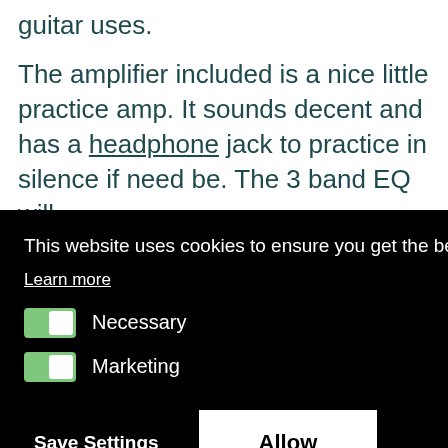guitar uses.
The amplifier included is a nice little practice amp. It sounds decent and has a headphone jack to practice in silence if need be. The 3 band EQ will
nd
This website uses cookies to ensure you get the best experience on our website.
Learn more
Necessary
Marketing
Save Settings   Allow